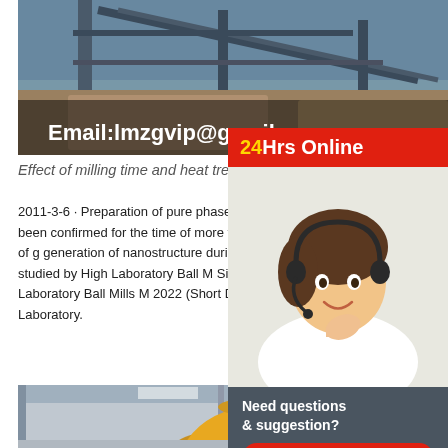[Figure (photo): Industrial milling machinery photograph with email overlay text: Email:lmzgvip@gmail.com]
Effect of milling time and heat treatment...
2011-3-6 · Preparation of pure phase CuIn0.75Ga0.25Se2 nanoparticle powder by milling technique has been confirmed for the time of more than 45 min at 1200 rpm. Form shear bands responsible for breakdown of g generation of nanostructure during mechani alloying, dislocation and defects induced due has been studied by High Laboratory Ball M Size In 2022 with Top,2021-12-16 · Dec 16, (The Expresswire) -- Laboratory Ball Mills M 2022 (Short Description) : This report contains market size and forecasts of Laboratory.
[Figure (photo): Industrial ball mill machinery inside a factory warehouse, showing large yellow cone-shaped equipment]
[Figure (infographic): 24Hrs Online badge with red background and yellow/white text, plus customer service agent photo and chat box with Need questions & suggestion? and Chat Now button]